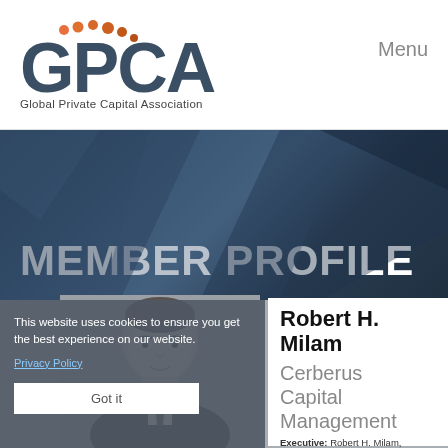[Figure (logo): GPCA - Global Private Capital Association logo with orange dots above letters and grey text below]
Menu
MEMBER PROFILE
[Figure (photo): Black and white headshot photo of Robert H. Milam, partially obscured by cookie consent overlay]
This website uses cookies to ensure you get the best experience on our website.
Privacy Policy
Got it
Robert H. Milam
Cerberus Capital Management
Executive: Robert H. Milam,